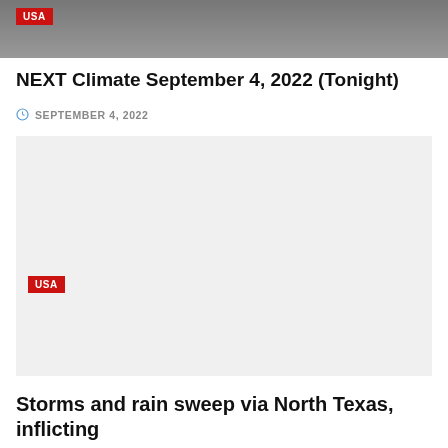[Figure (photo): Top image strip showing a rainy or wet scene with a USA badge label in the top-left corner]
NEXT Climate September 4, 2022 (Tonight)
SEPTEMBER 4, 2022
[Figure (photo): Large light gray placeholder image box with a USA badge label in the bottom-left corner]
Storms and rain sweep via North Texas, inflicting